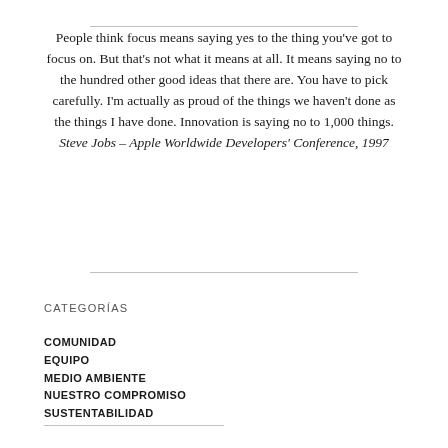People think focus means saying yes to the thing you've got to focus on. But that's not what it means at all. It means saying no to the hundred other good ideas that there are. You have to pick carefully. I'm actually as proud of the things we haven't done as the things I have done. Innovation is saying no to 1,000 things. Steve Jobs – Apple Worldwide Developers' Conference, 1997
CATEGORÍAS
COMUNIDAD
EQUIPO
MEDIO AMBIENTE
NUESTRO COMPROMISO
SUSTENTABILIDAD